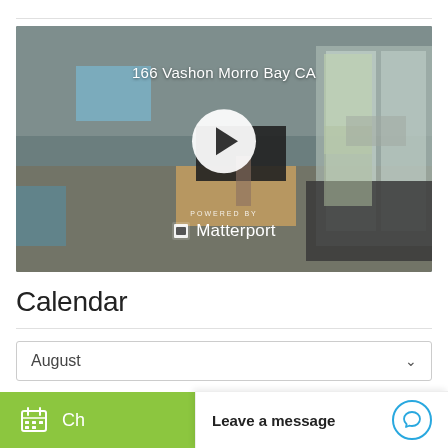[Figure (screenshot): Virtual tour preview image showing a living room interior with TV, furniture, and sliding glass door with outdoor view. Title '166 Vashon Morro Bay CA' at top, play button in center, 'POWERED BY Matterport' logo at bottom.]
Calendar
August
Ch
Leave a message